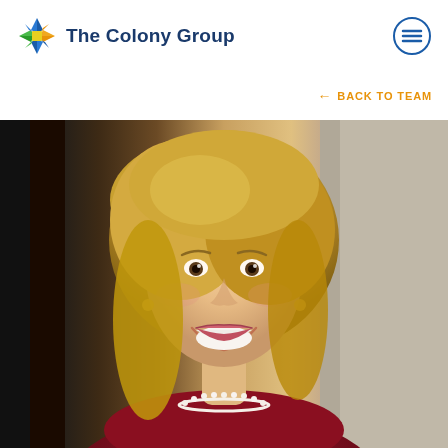The Colony Group
← BACK TO TEAM
[Figure (photo): Professional headshot of a smiling blonde woman in a dark red top with a pearl necklace, photographed in an office or indoor setting]